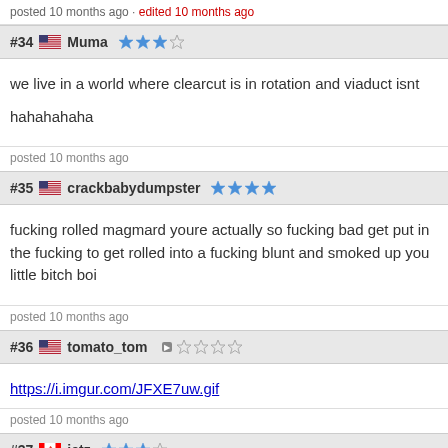posted 10 months ago · edited 10 months ago
#34 Muma ☆☆☆☆
we live in a world where clearcut is in rotation and viaduct isnt

hahahahaha
posted 10 months ago
#35 crackbabydumpster ☆☆☆☆
fucking rolled magmard youre actually so fucking bad get put in the fucking to get rolled into a fucking blunt and smoked up you little bitch boi
posted 10 months ago
#36 tomato_tom ☆☆☆☆
https://i.imgur.com/JFXE7uw.gif
posted 10 months ago
#37 jetz ☆☆☆☆
https://media.discordapp.net/attachments/873051443735720049/8980713...